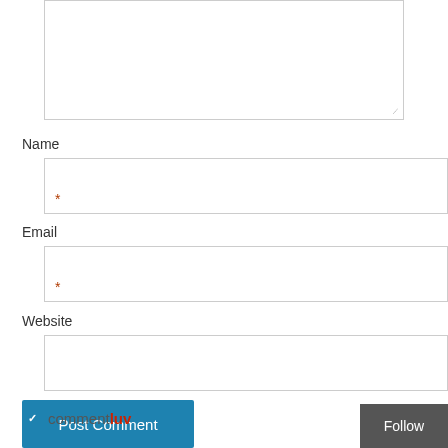[Figure (screenshot): Textarea input box with resize handle at bottom right]
Name
[Figure (screenshot): Name text input field with red asterisk required marker]
Email
[Figure (screenshot): Email text input field with red asterisk required marker]
Website
[Figure (screenshot): Website text input field]
[Figure (screenshot): Post Comment button (blue) and commentluv checkbox row with Follow button]
commentluv
Follow